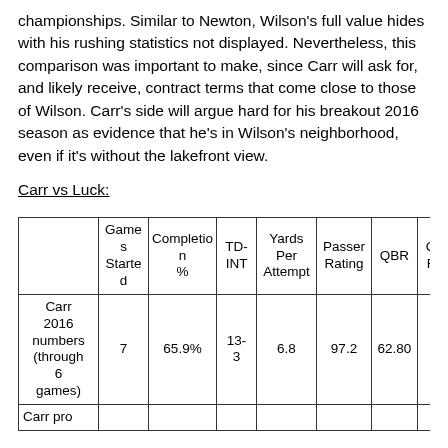championships. Similar to Newton, Wilson's full value hides with his rushing statistics not displayed. Nevertheless, this comparison was important to make, since Carr will ask for, and likely receive, contract terms that come close to those of Wilson. Carr's side will argue hard for his breakout 2016 season as evidence that he's in Wilson's neighborhood, even if it's without the lakefront view.
Carr vs Luck:
|  | Games Started | Completion % | TD-INT | Yards Per Attempt | Passer Rating | QBR | QB Re... |
| --- | --- | --- | --- | --- | --- | --- | --- |
| Carr 2016 numbers (through 6 games) | 7 | 65.9% | 13-3 | 6.8 | 97.2 | 62.80 | 5 |
| Carr pro |  |  |  |  |  |  |  |